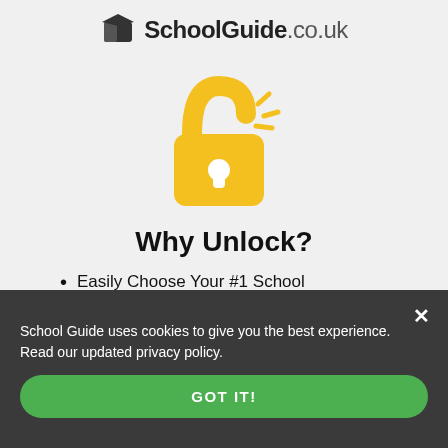SchoolGuide.co.uk
[Figure (illustration): Yellow unlocked padlock icon with shine marks indicating unlocking]
Why Unlock?
Easily Choose Your #1 School
See All Official School Data
View 2022 Catchment Area Maps
School Guide uses cookies to give you the best experience. Read our updated privacy policy.
GOT IT!